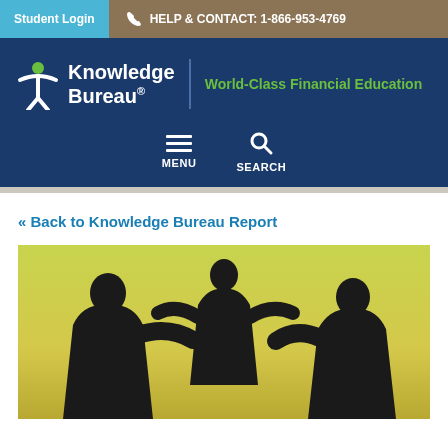Student Login | HELP & CONTACT: 1-866-953-4769
[Figure (logo): Knowledge Bureau logo with tagline 'World-Class Financial Education' on dark blue background, with MENU and SEARCH navigation icons]
« Back to Knowledge Bureau Report
[Figure (photo): Silhouette of a family (two adults and a child) playing together against a yellow-green gradient background]